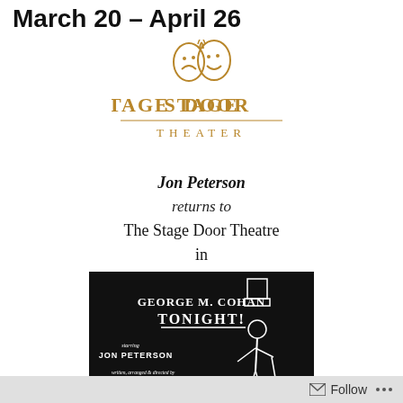March 20 – April 26
[Figure (logo): Stage Door Theater logo with golden comedy/tragedy masks and golden text reading STAGE DOOR THEATER]
Jon Peterson
returns to
The Stage Door Theatre
in
[Figure (photo): Black and white promotional image for George M. Cohan Tonight! starring Jon Peterson, written arranged & directed by Chip Deffaa, showing a silhouette of a man in a top hat with a cane]
Follow